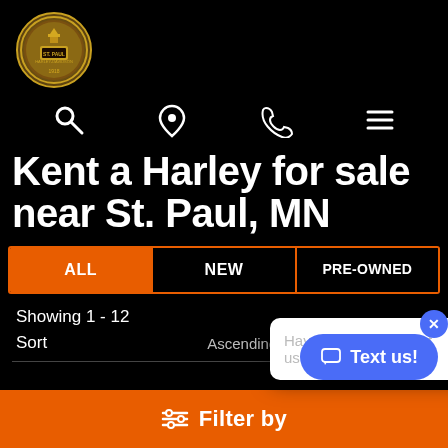[Figure (logo): St. Paul Harley-Davidson dealer logo, circular badge with gold and brown tones]
[Figure (infographic): Navigation icons: search magnifying glass, location pin, phone handset, hamburger menu]
Rent a Harley for sale near St. Paul, MN
ALL | NEW | PRE-OWNED (filter tabs)
Showing 1 - 12
Sort   Ascending
Have a question? Text us here!
Filter by